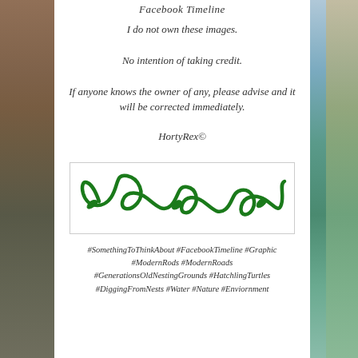Facebook Timeline
I do not own these images.
No intention of taking credit.
If anyone knows the owner of any, please advise and it will be corrected immediately.
HortyRex©
[Figure (illustration): Decorative green swirl/flourish divider line inside a light gray bordered rectangle]
#SomethingToThinkAbout #FacebookTimeline #Graphic #ModernRods #ModernRoads #GenerationsOldNestingGrounds #HatchlingTurtles #DiggingFromNests #Water #Nature #Enviornment